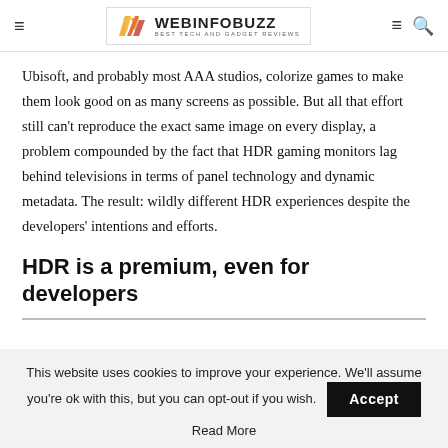WEBINFOBUZZ — BEST TECH AND GADGET REVIEWS
Ubisoft, and probably most AAA studios, colorize games to make them look good on as many screens as possible. But all that effort still can't reproduce the exact same image on every display, a problem compounded by the fact that HDR gaming monitors lag behind televisions in terms of panel technology and dynamic metadata. The result: wildly different HDR experiences despite the developers' intentions and efforts.
HDR is a premium, even for developers
This website uses cookies to improve your experience. We'll assume you're ok with this, but you can opt-out if you wish.
Read More